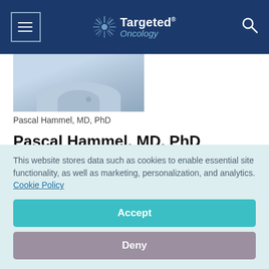Targeted Oncology
[Figure (photo): Photo of Pascal Hammel, MD, PhD wearing a light blue shirt, cropped to show collar and chest area]
Pascal Hammel, MD, PhD
Pascal Hammel, MD, PhD
In patients with newly diagnosed locally advanced pancreatic cancer, induction treatment with nab-
This website stores data such as cookies to enable essential site functionality, as well as marketing, personalization, and analytics. Cookie Policy
Accept
Deny